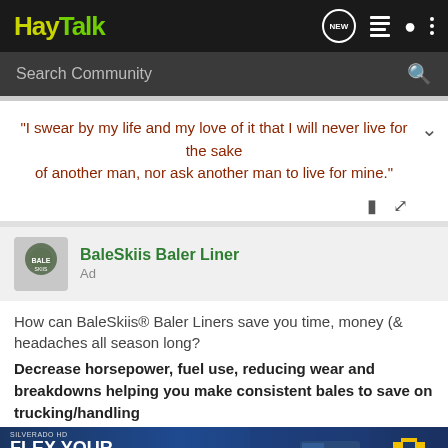HayTalk
Search Community
"I swear by my life and my love of it that I will never live for the sake of another man, nor ask another man to live for mine."
BaleSkiis Baler Liner
Ad
How can BaleSkiis® Baler Liners save you time, money (& headaches all season long?
Decrease horsepower, fuel use, reducing wear and breakdowns helping you make consistent bales to save on trucking/handling
[Figure (screenshot): Chevrolet Silverado HD advertisement banner showing a truck with text FLEX YOUR WORK MUSCLES. Available Multi-Flex Tailgate.]